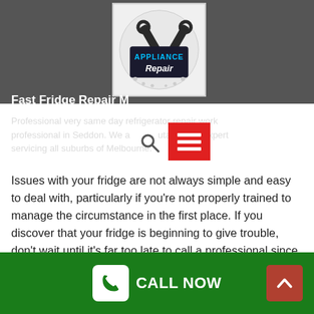[Figure (logo): Appliance Repair logo with wrench icons and blue/white text]
Fast Fridge Repair M...
Professional very same day refrigerator repair work professional in Seddon. We are a reputable and expert servicing all suburbs of Melbourne.
Issues with your fridge are not always simple and easy to deal with, particularly if you're not properly trained to manage the circumstance in the first place. If you discover that your fridge is beginning to give trouble, don't wait until it's far too late to call a professional since you may end up needing to change the whole white good instead of merely fixing smaller sized issues.
We specialise in refrigerator repairs in Seddon, so give us...